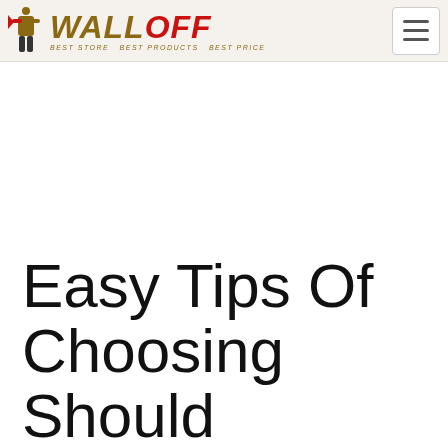WALLOFF
Easy Tips Of Choosing Should